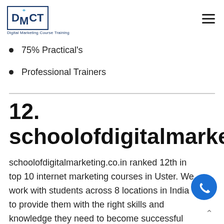DMCT - Digital Marketing Course Training
75% Practical's
Professional Trainers
12. schoolofdigitalmarketing.co.in
schoolofdigitalmarketing.co.in ranked 12th in top 10 internet marketing courses in Uster. We work with students across 8 locations in India to provide them with the right skills and knowledge they need to become successful marketers. School of Digital Marketing was started in 2012 with the vision to